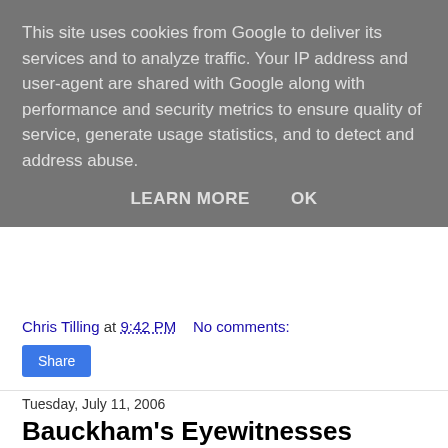This site uses cookies from Google to deliver its services and to analyze traffic. Your IP address and user-agent are shared with Google along with performance and security metrics to ensure quality of service, generate usage statistics, and to detect and address abuse.
LEARN MORE   OK
Chris Tilling at 9:42 PM   No comments:
Share
Tuesday, July 11, 2006
Bauckham's Eyewitnesses
Bauckham's forthcoming book (Jesus and the Eyewitness) mentioned here is really quite a read with some claims that will make the jaws of most drop to the floor with a clatter. I wanted to wait until I finished my exegesis of 1 Cor before I started reading it, but now that I have, even after having